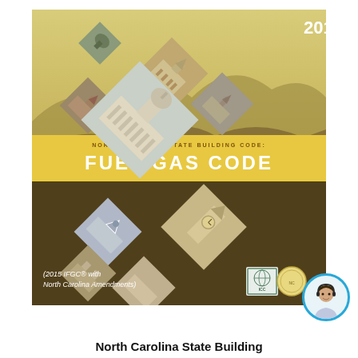[Figure (illustration): Book cover for 2018 North Carolina State Building Code: Fuel Gas Code (2015 IFGC with North Carolina Amendments), featuring diamond-shaped photo collage of NC buildings and landmarks on a golden/tan mountain landscape background, with ICC logo and seal at bottom right]
North Carolina State Building